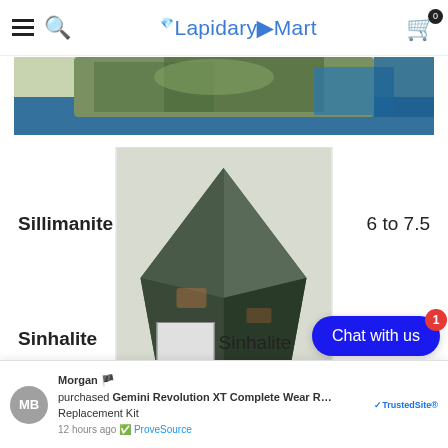LapidaryMart
[Figure (photo): Top partial image of a green and blue mineral/rock specimen]
Sillimanite
[Figure (photo): Sillimanite crystal specimen - dark greenish-grey pointed crystal]
6 to 7.5
Sinhalite
[Figure (photo): Small image placeholder box for Sinhalite]
Sinhalite
6.5
[Figure (photo): Bottom partial image of a yellow-orange mineral specimen]
Morgan 🇺🇸 purchased Gemini Revolution XT Complete Wear Replacement Kit 12 hours ago ProveSource
Chat with us